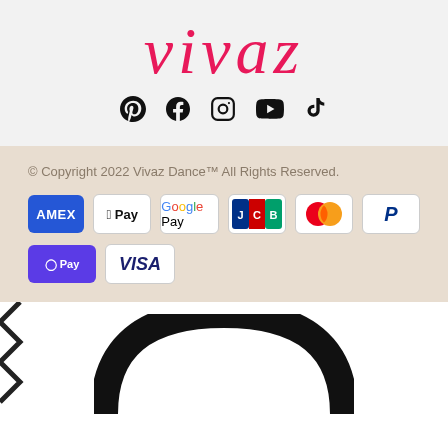vivaz
[Figure (logo): Social media icons: Pinterest, Facebook, Instagram, YouTube, TikTok]
© Copyright 2022 Vivaz Dance™ All Rights Reserved.
[Figure (infographic): Payment method badges: AMEX, Apple Pay, Google Pay, JCB, Mastercard, PayPal, Shop Pay, VISA]
[Figure (illustration): Bottom section with zigzag decorative element on left and large black arch/horseshoe shape at bottom center]